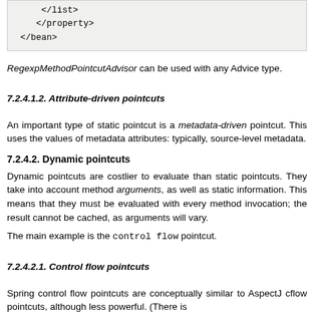[Figure (screenshot): Code snippet showing XML closing tags: </list>, </property>, </bean>]
RegexpMethodPointcutAdvisor can be used with any Advice type.
7.2.4.1.2. Attribute-driven pointcuts
An important type of static pointcut is a metadata-driven pointcut. This uses the values of metadata attributes: typically, source-level metadata.
7.2.4.2. Dynamic pointcuts
Dynamic pointcuts are costlier to evaluate than static pointcuts. They take into account method arguments, as well as static information. This means that they must be evaluated with every method invocation; the result cannot be cached, as arguments will vary.
The main example is the control flow pointcut.
7.2.4.2.1. Control flow pointcuts
Spring control flow pointcuts are conceptually similar to AspectJ cflow pointcuts, although less powerful. (There is